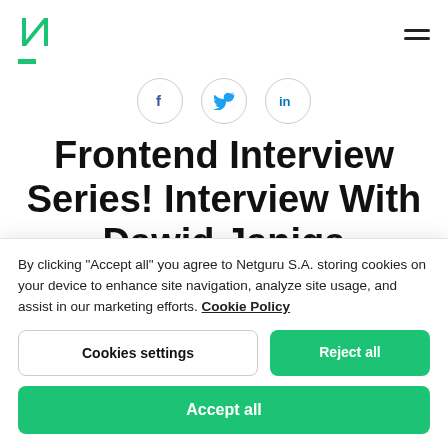N (logo) | menu (hamburger)
[Figure (illustration): Social share icons row: Facebook (f), Twitter (bird), LinkedIn (in) — each in a light grey circle border]
Frontend Interview Series! Interview With Dawid Janiga
By clicking “Accept all” you agree to Netguru S.A. storing cookies on your device to enhance site navigation, analyze site usage, and assist in our marketing efforts. Cookie Policy
Cookies settings | Reject all
Accept all